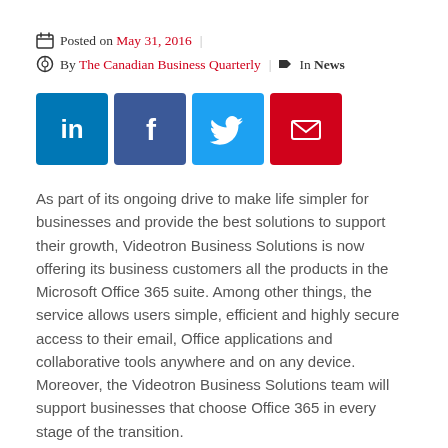Posted on May 31, 2016 | By The Canadian Business Quarterly | In News
[Figure (other): Social sharing buttons: LinkedIn, Facebook, Twitter, Email]
As part of its ongoing drive to make life simpler for businesses and provide the best solutions to support their growth, Videotron Business Solutions is now offering its business customers all the products in the Microsoft Office 365 suite. Among other things, the service allows users simple, efficient and highly secure access to their email, Office applications and collaborative tools anywhere and on any device. Moreover, the Videotron Business Solutions team will support businesses that choose Office 365 in every stage of the transition.
Microsoft and Videotron Business Solutions: Partners for growth
“Today, more than 125,000 businesses place their trust in us and it is above all because of our ability to be partners in their growth by providing increasingly